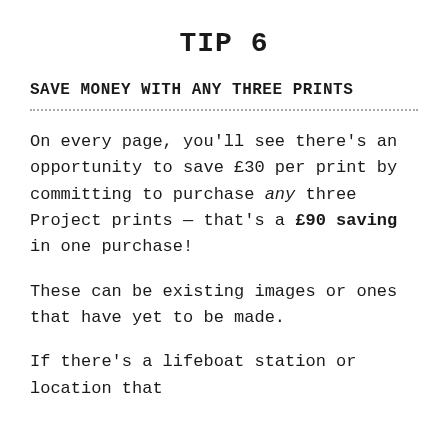TIP 6
SAVE MONEY WITH ANY THREE PRINTS
On every page, you'll see there's an opportunity to save £30 per print by committing to purchase any three Project prints — that's a £90 saving in one purchase!
These can be existing images or ones that have yet to be made.
If there's a lifeboat station or location that